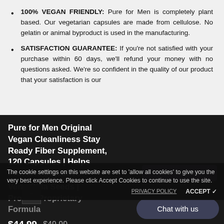100% VEGAN FRIENDLY: Pure for Men is completely plant based. Our vegetarian capsules are made from cellulose. No gelatin or animal byproduct is used in the manufacturing.
SATISFACTION GUARANTEE: If you’re not satisfied with your purchase within 60 days, we’ll refund your money with no questions asked. We’re so confident in the quality of our product that your satisfaction is our
Pure for Men Original Vegan Cleanliness Stay Ready Fiber Supplement, 120 Capsules | Helps Promote Digestive
Vera, Chia Seeds | Proven Proprietary Formula
The cookie settings on this website are set to ‘allow all cookies’ to give you the very best experience. Please click Accept Cookies to continue to use the site.
ADD TO CART
PRIVACY POLICY    ACCEPT ✓
Chat with us
$44.99  $49.99